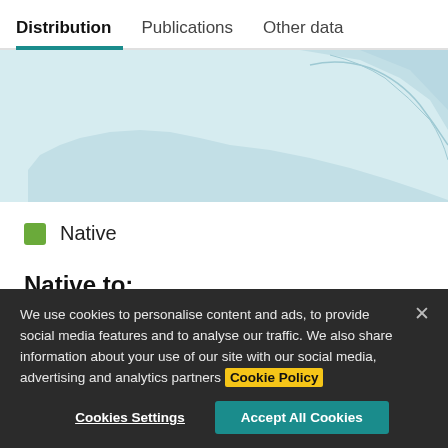Distribution  Publications  Other data
[Figure (map): Partial world map showing a geographic distribution area filled in light blue, representing the native range of a species.]
Native
Native to:
We use cookies to personalise content and ads, to provide social media features and to analyse our traffic. We also share information about your use of our site with our social media, advertising and analytics partners Cookie Policy
Cookies Settings  Accept All Cookies